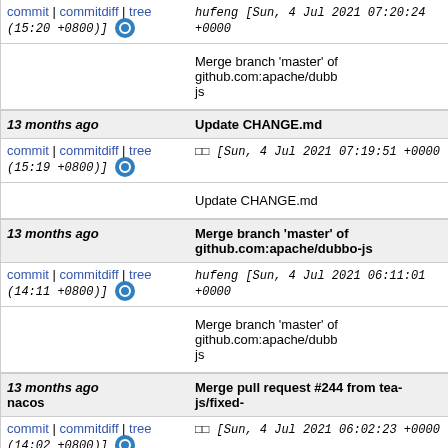commit | commitdiff | tree   hufeng [Sun, 4 Jul 2021 07:20:24 +0000 (15:20 +0800)]
Merge branch 'master' of github.com:apache/dubbo-js
13 months ago   Update CHANGE.md
commit | commitdiff | tree   [Sun, 4 Jul 2021 07:19:51 +0000 (15:19 +0800)]
Update CHANGE.md
13 months ago   Merge branch 'master' of github.com:apache/dubbo-js
commit | commitdiff | tree   hufeng [Sun, 4 Jul 2021 06:11:01 +0000 (14:11 +0800)]
Merge branch 'master' of github.com:apache/dubbo-js
13 months ago   Merge pull request #244 from tea-js/fixed-nacos
commit | commitdiff | tree   [Sun, 4 Jul 2021 06:02:23 +0000 (14:02 +0800)]